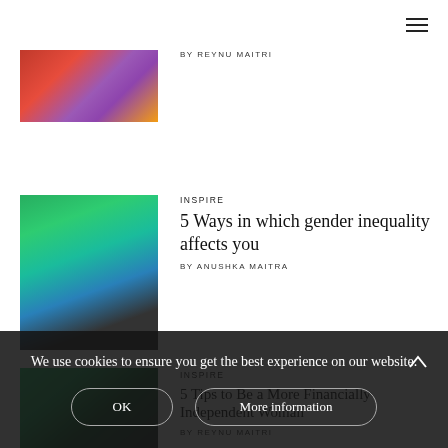[Figure (photo): Colorful braids/hair, partial view]
BY REYNU MAITRI
[Figure (photo): Two people outdoors, close-up]
INSPIRE
5 Ways in which gender inequality affects you
BY ANUSHKA MAITRA
[Figure (photo): Person in nature setting]
INSPIRE
5 Tips to Be a More Financially Independent Woman
BY REYNU MAITRI
We use cookies to ensure you get the best experience on our website.
OK
More information
INSPIRE